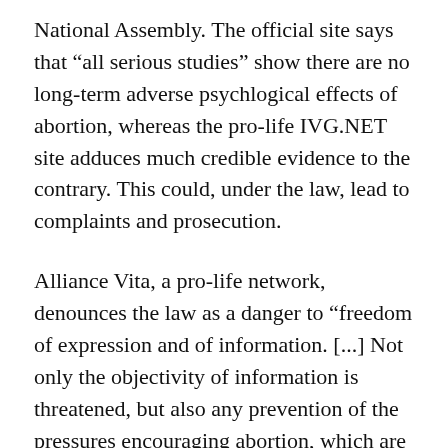National Assembly. The official site says that “all serious studies” show there are no long-term adverse psychlogical effects of abortion, whereas the pro-life IVG.NET site adduces much credible evidence to the contrary. This could, under the law, lead to complaints and prosecution.
Alliance Vita, a pro-life network, denounces the law as a danger to “freedom of expression and of information. [...] Not only the objectivity of information is threatened, but also any prevention of the pressures encouraging abortion, which are currently denied and ignored.”
IVG.NET for its part is not about to back down. Its